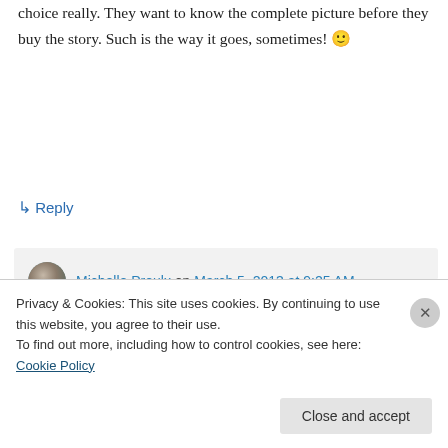choice really. They want to know the complete picture before they buy the story. Such is the way it goes, sometimes! 🙂
↳ Reply
Michelle Proulx on March 5, 2013 at 9:25 AM
Well, if it's not a choice, then what can you do? And that totally makes sense for the publisher from a business standpoint.
Privacy & Cookies: This site uses cookies. By continuing to use this website, you agree to their use.
To find out more, including how to control cookies, see here: Cookie Policy
Close and accept